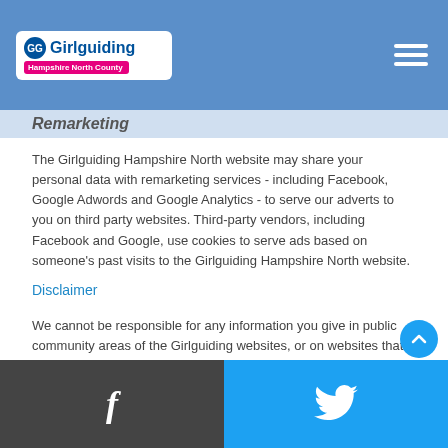Girlguiding Hampshire North County - navigation header with logo and hamburger menu
Remarketing
The Girlguiding Hampshire North website may share your personal data with remarketing services - including Facebook, Google Adwords and Google Analytics - to serve our adverts to you on third party websites. Third-party vendors, including Facebook and Google, use cookies to serve ads based on someone's past visits to the Girlguiding Hampshire North website.
Disclaimer
We cannot be responsible for any information you give in public community areas of the Girlguiding websites, or on websites that we link to from our platforms. This information can be viewed or collected by any third party - you should always be wary of publishing any personal information in public community areas.
You should also read the privacy notices of any other websites that we link to from Girlguiding Hampshire North websites which you visit. This is so you may understand what information is collected from you and for what purpose.
Facebook and Twitter social media links